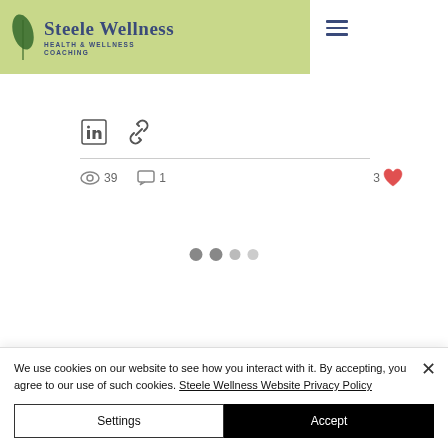[Figure (screenshot): Steele Wellness Health & Wellness Coaching website navigation bar with green background, leaf logo, brand name, and hamburger menu icon]
Mental Health and Wellbeing
Christmas with family
39 views  1 comment  3 likes
[Figure (other): Loading indicator with three dots in varying shades of gray]
We use cookies on our website to see how you interact with it. By accepting, you agree to our use of such cookies. Steele Wellness Website Privacy Policy
Settings
Accept